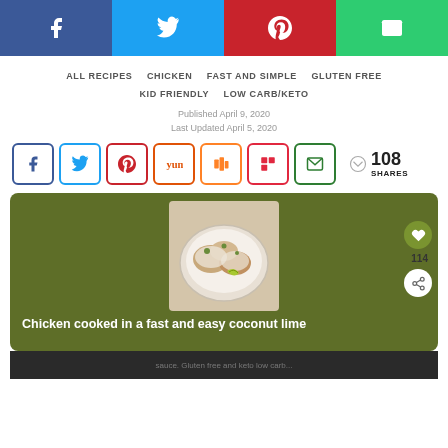[Figure (infographic): Social share bar with Facebook, Twitter, Pinterest, and Email buttons]
ALL RECIPES  CHICKEN  FAST AND SIMPLE  GLUTEN FREE  KID FRIENDLY  LOW CARB/KETO
Published April 9, 2020
Last Updated April 5, 2020
[Figure (infographic): Social share icons row: Facebook, Twitter, Pinterest, Yummly, Mix, Flipboard, Email with 108 SHARES count]
[Figure (photo): Recipe card with olive green background showing a bowl of chicken in coconut lime sauce, with heart (114) and share buttons on the right]
Chicken cooked in a fast and easy coconut lime sauce. Gluten free and keto low carb...